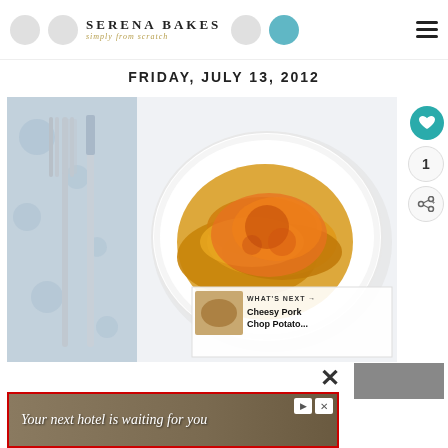Serena Bakes Simply from Scratch
FRIDAY, JULY 13, 2012
[Figure (photo): Overhead shot of a white plate with cheesy scalloped potatoes, fork and knife on patterned napkin to the left, white background]
1
WHAT'S NEXT → Cheesy Pork Chop Potato...
Your next hotel is waiting for you